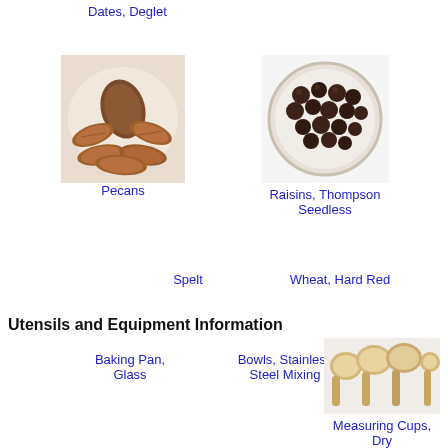Dates, Deglet
[Figure (photo): Photo of pecans]
Pecans
Pumpkin
[Figure (photo): Photo of Raisins, Thompson Seedless in a bowl]
Raisins, Thompson Seedless
Spelt
Wheat, Hard Red
Utensils and Equipment Information
Baking Pan, Glass
Bowls, Stainless Steel Mixing
[Figure (photo): Photo of Measuring Cups, Dry]
Measuring Cups, Dry